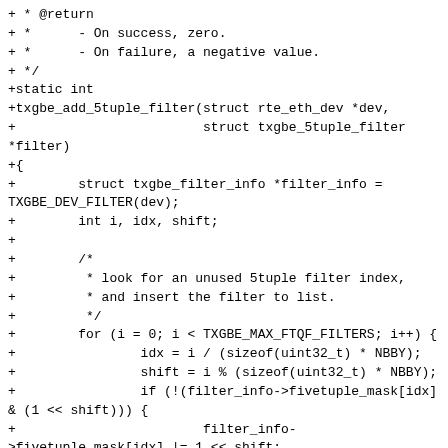+ * @return
+ *      - On success, zero.
+ *      - On failure, a negative value.
+ */
+static int
+txgbe_add_5tuple_filter(struct rte_eth_dev *dev,
+                        struct txgbe_5tuple_filter
*filter)
+{
+        struct txgbe_filter_info *filter_info =
TXGBE_DEV_FILTER(dev);
+        int i, idx, shift;
+
+        /*
+         * look for an unused 5tuple filter index,
+         * and insert the filter to list.
+         */
+        for (i = 0; i < TXGBE_MAX_FTQF_FILTERS; i++) {
+                idx = i / (sizeof(uint32_t) * NBBY);
+                shift = i % (sizeof(uint32_t) * NBBY);
+                if (!(filter_info->fivetuple_mask[idx]
& (1 << shift))) {
+                        filter_info-
>fivetuple_mask[idx] |= 1 << shift;
+                        filter->index = i;
+                        TAILQ_INSERT_TAIL(&filter_info-
>fivetuple_list,
+                                                filter,
+                                                entries);
+